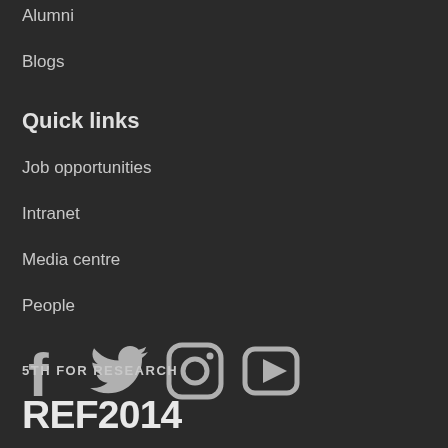Alumni
Blogs
Quick links
Job opportunities
Intranet
Media centre
People
[Figure (infographic): Social media icons: Facebook, Twitter, Instagram, YouTube]
[Figure (logo): The Times / The Sunday Times Good University Guide 2018, Welsh University of the Year badge]
5TH FOR RESEARCH
[Figure (logo): REF2014 logo]